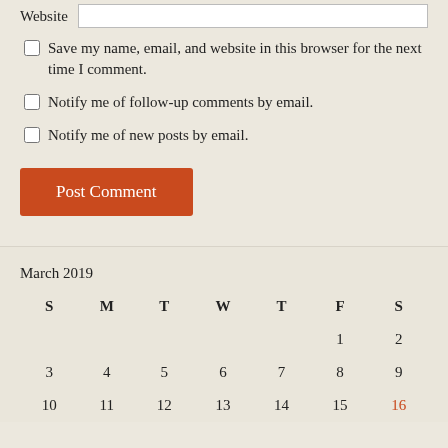Website
Save my name, email, and website in this browser for the next time I comment.
Notify me of follow-up comments by email.
Notify me of new posts by email.
Post Comment
March 2019
| S | M | T | W | T | F | S |
| --- | --- | --- | --- | --- | --- | --- |
|  |  |  |  |  | 1 | 2 |
| 3 | 4 | 5 | 6 | 7 | 8 | 9 |
| 10 | 11 | 12 | 13 | 14 | 15 | 16 |